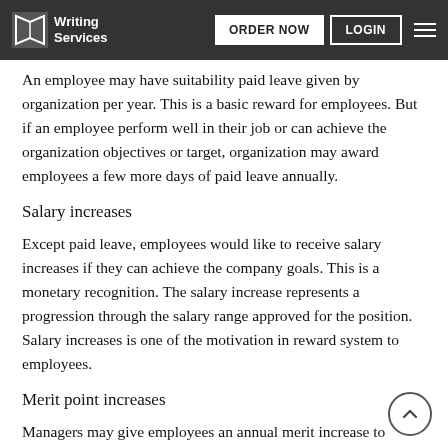Writing Services | ORDER NOW | LOGIN
An employee may have suitability paid leave given by organization per year. This is a basic reward for employees. But if an employee perform well in their job or can achieve the organization objectives or target, organization may award employees a few more days of paid leave annually.
Salary increases
Except paid leave, employees would like to receive salary increases if they can achieve the company goals. This is a monetary recognition. The salary increase represents a progression through the salary range approved for the position. Salary increases is one of the motivation in reward system to employees.
Merit point increases
Managers may give employees an annual merit increase to recognize consistently meritorious performance or successful completion of a project that had a significant impact on a